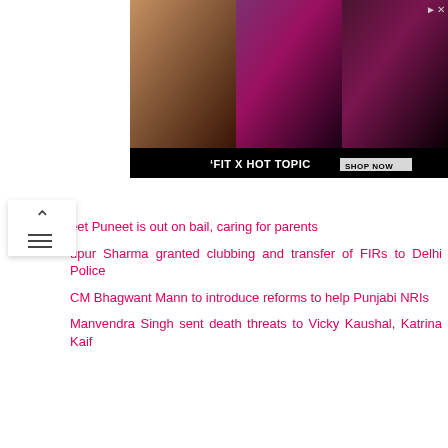[Figure (photo): Advertisement banner for 'FIT X HOT TOPIC' showing three fashion photos with a 'SHOP NOW' button on black background]
eet Puneet is out on bail, caring for parents
upur Sharma granted clubbing and transfer of FIRs to Delhi Police
CM Bhagwant Mann to introduce reforms to help Punjabi NRIs
Manvendra Singh sent death threats to Vicky Kaushal, Katrina Kaif
Previous Post: Dating: Traffic light system for a healthy, happy date
Next Post: Not teal independents, the winners are – Rachelle Miller, Brittany Higgins & Grace Tame